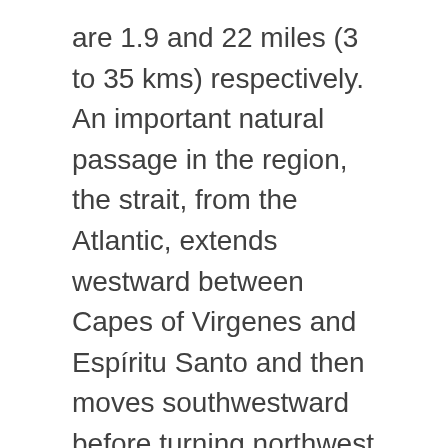are 1.9 and 22 miles (3 to 35 kms) respectively. An important natural passage in the region, the strait, from the Atlantic, extends westward between Capes of Virgenes and Espíritu Santo and then moves southwestward before turning northwest at Froward Cape on the southern tip of Brunswick Peninsula.
The strait finally connects with the Pacific Ocean after crossing Cape Pillar on Desolación Island. The major port of the Magellan Strait is Punta Arenas on the Brunswick Peninsula.
Before the opening of the Panama Canal in 1914, the Strait of Magellan was an important route for the steam ships moving between the Atlantic and